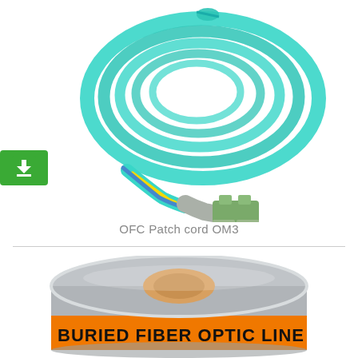[Figure (photo): Coiled teal/aqua fiber optic patch cord (OFC Patch cord OM3) with LC duplex connectors, showing yellow and blue fiber strands and green LC connector housing.]
OFC Patch cord OM3
[Figure (photo): Roll of metallic/silver warning tape with orange stripe reading 'BURIED FIBER OPTIC LINE' in bold black text, partially unrolled showing the warning label.]